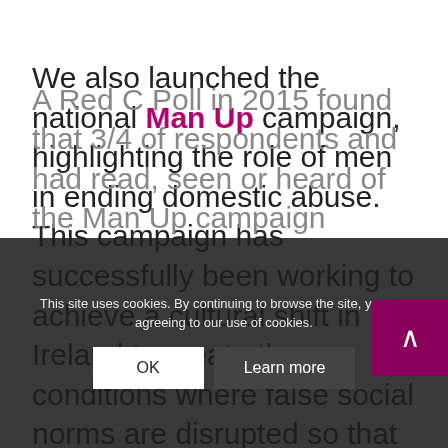We also launched the national Man Up campaign, highlighting the role of men in ending domestic abuse. This campaign has successfully been working to achieve a cultural shift in Ireland to create the conditions where false social norms are disrupted so that more men can feel confident to speak out against male violence against women.
A Red C Poll in 2015 found that 3/4 of respondents and had read, seen or heard of the Man Up campaign
This site uses cookies. By continuing to browse the site, you are agreeing to our use of cookies.